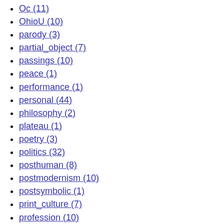Oc (11)
OhioU (10)
parody (3)
partial_object (7)
passings (10)
peace (1)
performance (1)
personal (44)
philosophy (2)
plateau (1)
poetry (3)
politics (32)
posthuman (8)
postmodernism (10)
postsymbolic (1)
print_culture (7)
profession (10)
protest (2)
psychoanalysis (8)
race (18)
racism (7)
rant (3)
relationships (1)
religion (1)
remembrance (1)